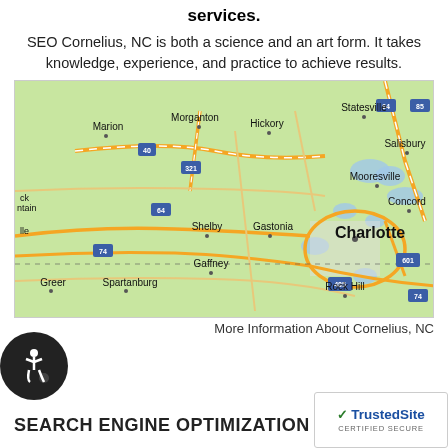services.
SEO Cornelius, NC is both a science and an art form. It takes knowledge, experience, and practice to achieve results.
[Figure (map): Google map showing Cornelius, NC area with surrounding cities including Charlotte, Mooresville, Statesville, Concord, Salisbury, Hickory, Morganton, Marion, Shelby, Gastonia, Gaffney, Spartanburg, Greer, Rock Hill]
More Information About Cornelius, NC
SEARCH ENGINE OPTIMIZATION IS A